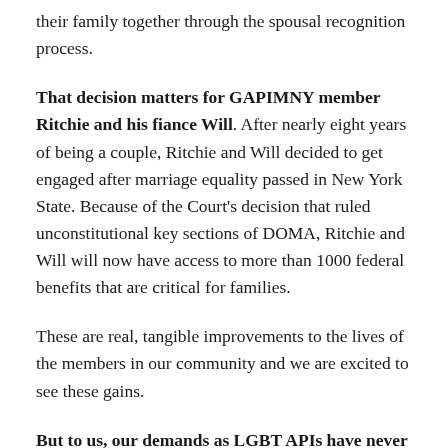their family together through the spousal recognition process.
That decision matters for GAPIMNY member Ritchie and his fiance Will.  After nearly eight years of being a couple, Ritchie and Will decided to get engaged after marriage equality passed in New York State.  Because of the Court's decision that ruled unconstitutional key sections of DOMA, Ritchie and Will will now have access to more than 1000 federal benefits that are critical for families.
These are real, tangible improvements to the lives of the members in our community and we are excited to see these gains.
But to us, our demands as LGBT APIs have never been limited to marriage equality.  Rather, they've been informed by the multiplicity of the identities and